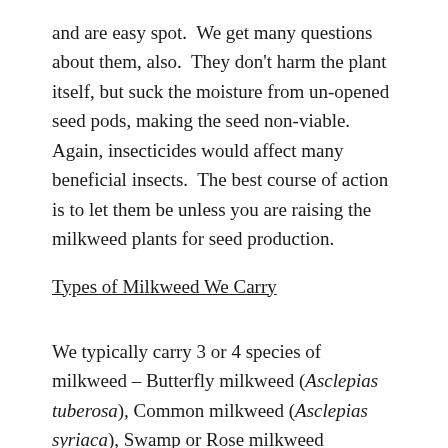and are easy spot.  We get many questions about them, also.  They don't harm the plant itself, but suck the moisture from un-opened seed pods, making the seed non-viable.  Again, insecticides would affect many beneficial insects.  The best course of action is to let them be unless you are raising the milkweed plants for seed production.
Types of Milkweed We Carry
We typically carry 3 or 4 species of milkweed – Butterfly milkweed (Asclepias tuberosa), Common milkweed (Asclepias syriaca), Swamp or Rose milkweed (Asclepias incarnata), Poke Milkweed, and horsetail milkweed.  Very seldomly we can offer Purple milkweed (Asclepias purpurascens).  At any